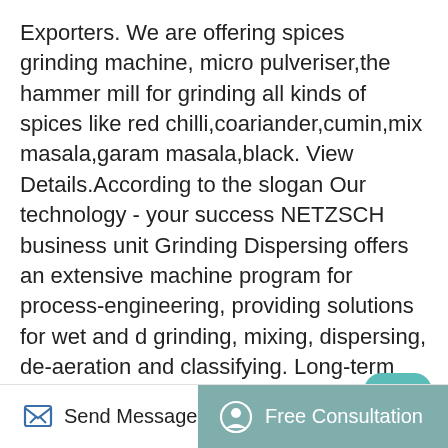Exporters. We are offering spices grinding machine, micro pulveriser,the hammer mill for grinding all kinds of spices like red chilli,coariander,cumin,mix masala,garam masala,black. View Details.According to the slogan Our technology - your success NETZSCH business unit Grinding Dispersing offers an extensive machine program for process-engineering, providing solutions for wet and d grinding, mixing, dispersing, de-aeration and classifying. Long-term experience, continual development work, daily contact with our customers and.
[Figure (photo): Exterior photo of modern industrial or commercial buildings against a blue sky]
Send Message
Free Consultation